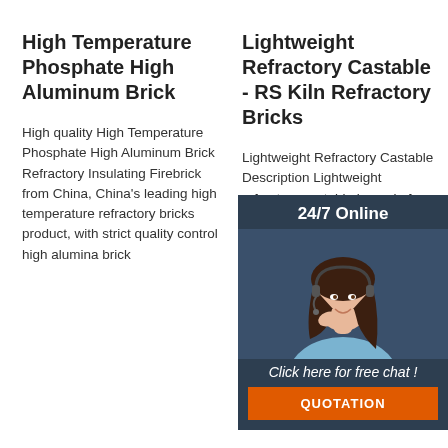High Temperature Phosphate High Aluminum Brick
High quality High Temperature Phosphate High Aluminum Brick Refractory Insulating Firebrick from China, China's leading high temperature refractory bricks product, with strict quality control high alumina brick
Lightweight Refractory Castable - RS Kiln Refractory Bricks
Lightweight Refractory Castable Description Lightweight refractory castable is made from lightweight refractory aggregate and powder, binder, and additives. Lightweight castable has low bulk density and
Cement Refractory Bricks
Descri ranging refract beams plates, sagger honeyc high p shapes high-te cemen ramming and gunnable monolithics and towelling mixes.From refractories that
[Figure (infographic): 24/7 online chat widget with a photo of a woman wearing a headset, a dark navy background, text '24/7 Online', 'Click here for free chat!', an orange QUOTATION button, and a TOP badge with orange dots.]